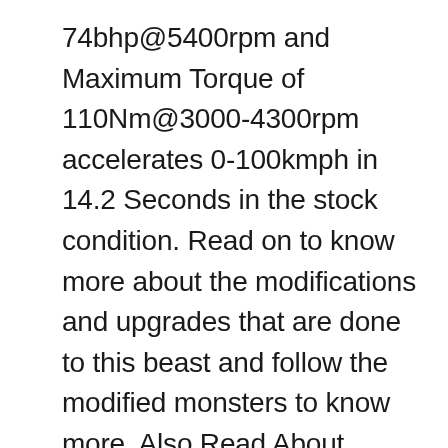74bhp@5400rpm and Maximum Torque of 110Nm@3000-4300rpm accelerates 0-100kmph in 14.2 Seconds in the stock condition. Read on to know more about the modifications and upgrades that are done to this beast and follow the modified monsters to know more. Also Read About India's Fastest Diesel BMW 530D M Sport